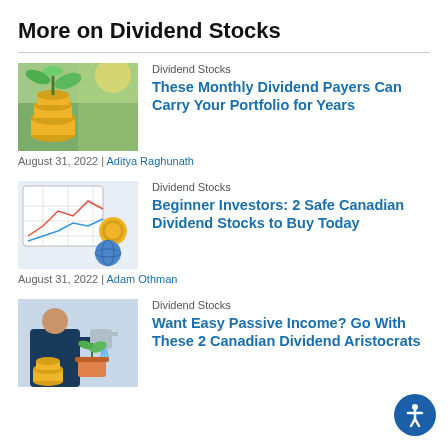More on Dividend Stocks
[Figure (photo): Plant growing from coins stack, green leaves, sunlight]
Dividend Stocks
These Monthly Dividend Payers Can Carry Your Portfolio for Years
August 31, 2022 | Aditya Raghunath
[Figure (photo): Financial charts, coins, magnifying glass on table]
Dividend Stocks
Beginner Investors: 2 Safe Canadian Dividend Stocks to Buy Today
August 31, 2022 | Adam Othman
[Figure (photo): Person watering small plant with gold coins, blue suit]
Dividend Stocks
Want Easy Passive Income? Go With These 2 Canadian Dividend Aristocrats